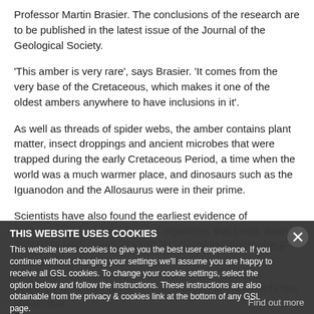Professor Martin Brasier. The conclusions of the research are to be published in the latest issue of the Journal of the Geological Society.
‘This amber is very rare’, says Brasier. ‘It comes from the very base of the Cretaceous, which makes it one of the oldest ambers anywhere to have inclusions in it’.
As well as threads of spider webs, the amber contains plant matter, insect droppings and ancient microbes that were trapped during the early Cretaceous Period, a time when the world was a much warmer place, and dinosaurs such as the Iguanodon and the Allosaurus were in their prime.
Scientists have also found the earliest evidence of Actinobacteria – a tiny group of organisms that break down wood and resins into soil particles, potentially rewriting the history of soil evolution.
Since the discovery of the amber, analysis of the threads has shown that they were spun by spiders closely related to modern day orb-web, or garden...
THIS WEBSITE USES COOKIES
This website uses cookies to give you the best user experience. If you continue without changing your settings we’ll assume you are happy to receive all GSL cookies. To change your cookie settings, select the option below and follow the instructions. These instructions are also obtainable from the privacy & cookies link at the bottom of any GSL page.
Find out more